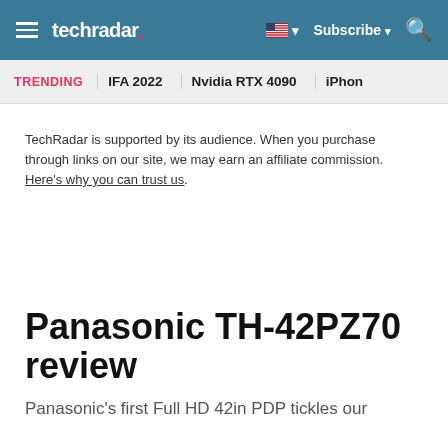techradar
TRENDING   IFA 2022   Nvidia RTX 4090   iPhon
TechRadar is supported by its audience. When you purchase through links on our site, we may earn an affiliate commission. Here's why you can trust us.
Panasonic TH-42PZ70 review
Panasonic's first Full HD 42in PDP tickles our